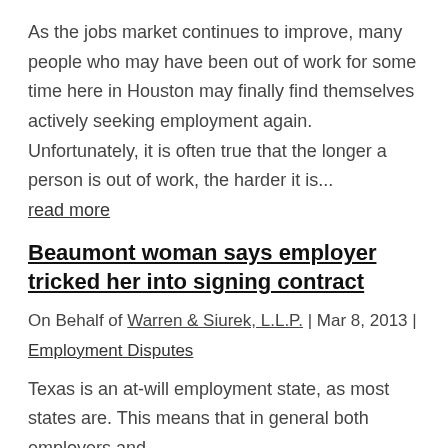As the jobs market continues to improve, many people who may have been out of work for some time here in Houston may finally find themselves actively seeking employment again. Unfortunately, it is often true that the longer a person is out of work, the harder it is...
read more
Beaumont woman says employer tricked her into signing contract
On Behalf of Warren & Siurek, L.L.P. | Mar 8, 2013 |
Employment Disputes
Texas is an at-will employment state, as most states are. This means that in general both employers and